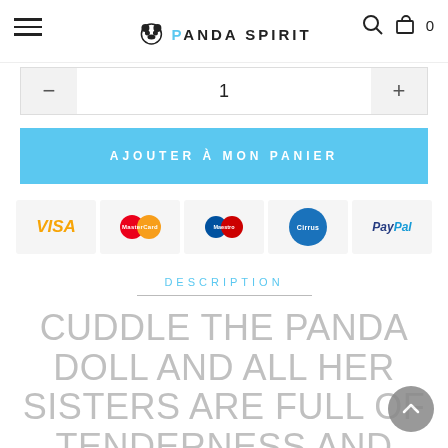Panda Spirit
1
AJOUTER À MON PANIER
[Figure (other): Payment icons: VISA, MasterCard, Maestro, Cirrus, PayPal]
DESCRIPTION
CUDDLE THE PANDA DOLL AND ALL HER SISTERS ARE FULL OF TENDERNESS AND DELICACY. THEY ARE LITTLE PRINCESSES WITH THEIR CLOTHES AND PRETTY FLOWERS ON THEIR HEADS